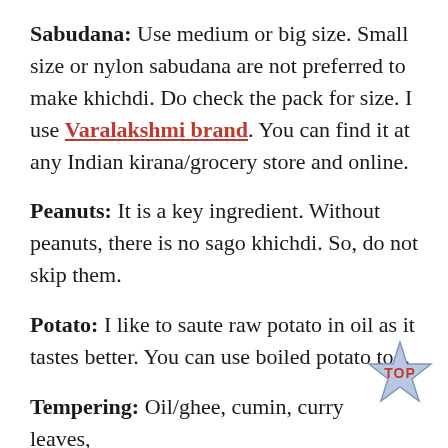Sabudana: Use medium or big size. Small size or nylon sabudana are not preferred to make khichdi. Do check the pack for size. I use Varalakshmi brand. You can find it at any Indian kirana/grocery store and online.
Peanuts: It is a key ingredient. Without peanuts, there is no sago khichdi. So, do not skip them.
Potato: I like to saute raw potato in oil as it tastes better. You can use boiled potato too.
Tempering: Oil/ghee, cumin, curry leaves, green chilies.